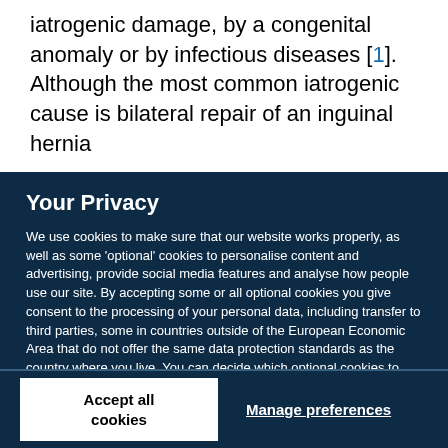iatrogenic damage, by a congenital anomaly or by infectious diseases [1]. Although the most common iatrogenic cause is bilateral repair of an inguinal hernia
Your Privacy
We use cookies to make sure that our website works properly, as well as some 'optional' cookies to personalise content and advertising, provide social media features and analyse how people use our site. By accepting some or all optional cookies you give consent to the processing of your personal data, including transfer to third parties, some in countries outside of the European Economic Area that do not offer the same data protection standards as the country where you live. You can decide which optional cookies to accept by clicking on 'Manage Settings', where you can also find more information about how your personal data is processed. Further information can be found in our privacy policy.
Accept all cookies
Manage preferences